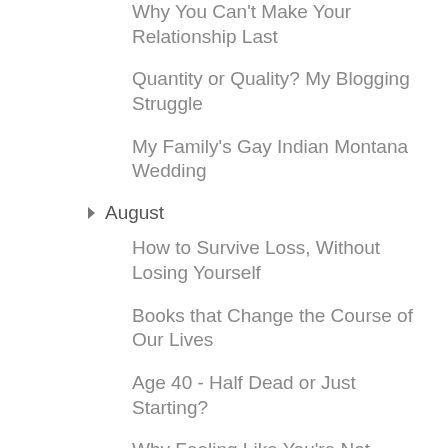Why You Can't Make Your Relationship Last
Quantity or Quality? My Blogging Struggle
My Family's Gay Indian Montana Wedding
▼ August
How to Survive Loss, Without Losing Yourself
Books that Change the Course of Our Lives
Age 40 - Half Dead or Just Starting?
Why Feeling Like You're Not Enough ....Is More Than Enough
▼ July